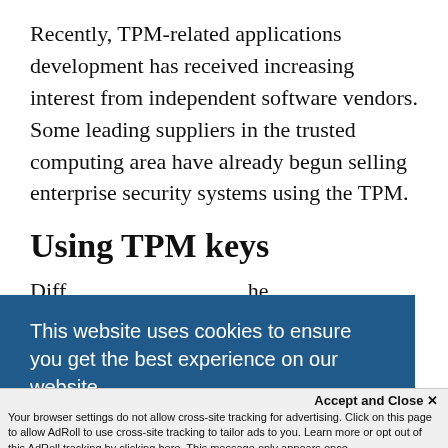Recently, TPM-related applications development has received increasing interest from independent software vendors. Some leading suppliers in the trusted computing area have already begun selling enterprise security systems using the TPM.
Using TPM keys
Diff... ...he ...up in
[Figure (other): Cookie consent banner overlay with dark blue background reading: 'This website uses cookies to ensure you get the best experience on our website. Learn More']
Accept and Close ✕ Your browser settings do not allow cross-site tracking for advertising. Click on this page to allow AdRoll to use cross-site tracking to tailor ads to you. Learn more or opt out of this AdRoll tracking by clicking here. This message only appears once.